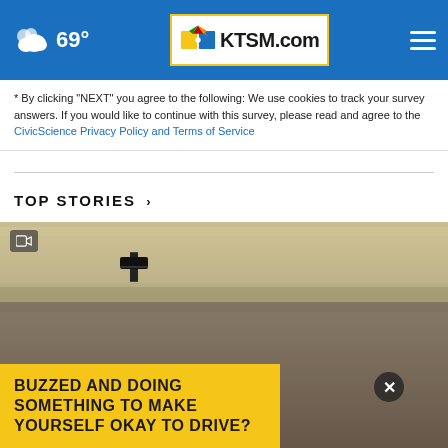69° KTSM.com
* By clicking "NEXT" you agree to the following: We use cookies to track your survey answers. If you would like to continue with this survey, please read and agree to the CivicScience Privacy Policy and Terms of Service
TOP STORIES ›
[Figure (photo): Large crowd of people at a stadium or outdoor venue, raising hands, some wearing masks. A camera operator is visible in the background on a raised platform with stadium seating visible.]
BUZZED AND DOING SOMETHING TO MAKE YOURSELF OKAY TO DRIVE?